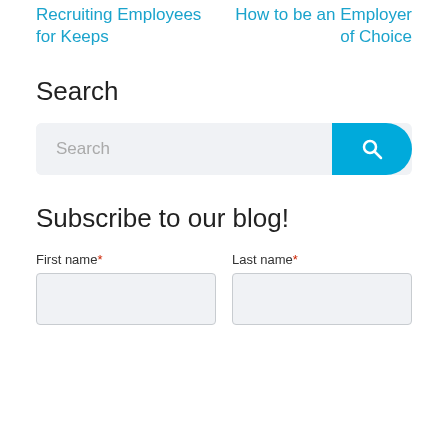Recruiting Employees for Keeps
How to be an Employer of Choice
Search
Subscribe to our blog!
First name*
Last name*